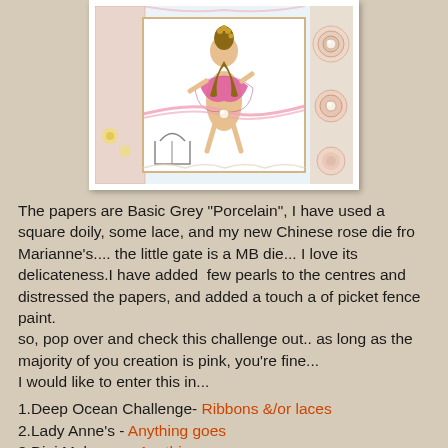[Figure (photo): A handmade craft card featuring a Chinese rose die cut, pink ribbons and lace, decorative papers, pearl embellishments, and a small gate die, all arranged on patterned paper]
The papers are Basic Grey "Porcelain", I have used a square doily, some lace, and my new Chinese rose die fro Marianne's.... the little gate is a MB die... I love its delicateness.I have added  few pearls to the centres and distressed the papers, and added a touch a of picket fence paint.
so, pop over and check this challenge out.. as long as the majority of you creation is pink, you're fine...
I would like to enter this in...
1.Deep Ocean Challenge- Ribbons &/or laces
2.Lady Anne's - Anything goes
3.Digi Makeover- Anything goes